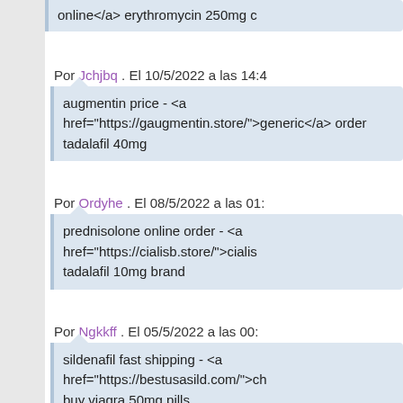online</a> erythromycin 250mg c
Por Jchjbq . El 10/5/2022 a las 14:4
augmentin price - <a href="https://gaugmentin.store/">generic</a> order tadalafil 40mg
Por Ordyhe . El 08/5/2022 a las 01:
prednisolone online order - <a href="https://cialisb.store/">cialis tadalafil 10mg brand
Por Ngkkff . El 05/5/2022 a las 00:
sildenafil fast shipping - <a href="https://bestusasild.com/">ch buy viagra 50mg pills